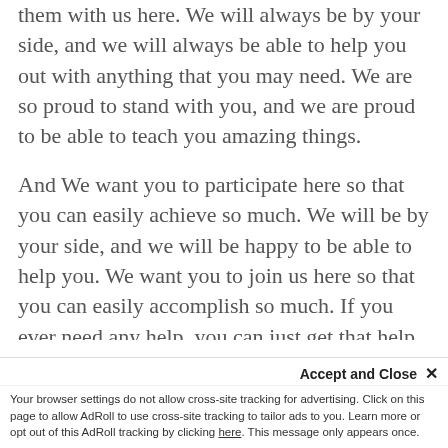them with us here. We will always be by your side, and we will always be able to help you out with anything that you may need. We are so proud to stand with you, and we are proud to be able to teach you amazing things.
And We want you to participate here so that you can easily achieve so much. We will be by your side, and we will be happy to be able to help you. We want you to join us here so that you can easily accomplish so much. If you ever need any help, you can just get that help from us here. We will be by your side, and we will be happy to help you out with anything that you
Accept and Close ✕
Your browser settings do not allow cross-site tracking for advertising. Click on this page to allow AdRoll to use cross-site tracking to tailor ads to you. Learn more or opt out of this AdRoll tracking by clicking here. This message only appears once.